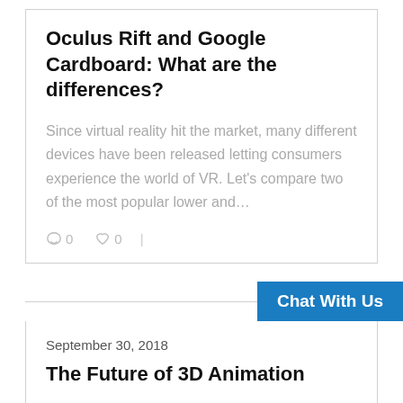Oculus Rift and Google Cardboard: What are the differences?
Since virtual reality hit the market, many different devices have been released letting consumers experience the world of VR. Let’s compare two of the most popular lower and…
○ 0   ♡ 0  |
Chat With Us
September 30, 2018
The Future of 3D Animation
Predictions and discussion of the future state of 3D animation by Kyle from Point In Time Studios,